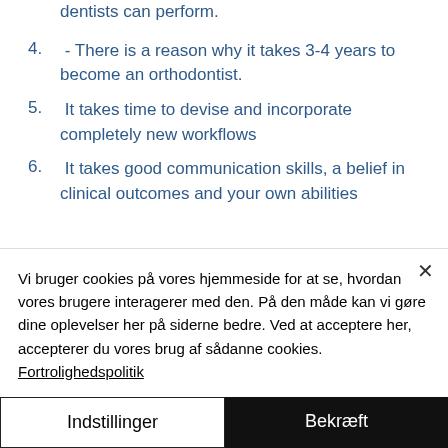dentists can perform.
4.  - There is a reason why it takes 3-4 years to become an orthodontist.
5.  It takes time to devise and incorporate completely new workflows
6.  It takes good communication skills, a belief in clinical outcomes and your own abilities
Vi bruger cookies på vores hjemmeside for at se, hvordan vores brugere interagerer med den. På den måde kan vi gøre dine oplevelser her på siderne bedre. Ved at acceptere her, accepterer du vores brug af sådanne cookies. Fortrolighedspolitik